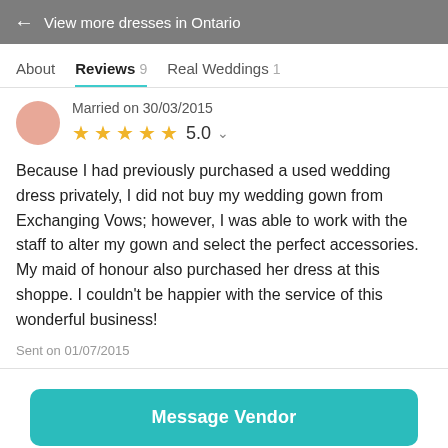← View more dresses in Ontario
About   Reviews 9   Real Weddings 1
Married on 30/03/2015
★★★★★ 5.0
Because I had previously purchased a used wedding dress privately, I did not buy my wedding gown from Exchanging Vows; however, I was able to work with the staff to alter my gown and select the perfect accessories. My maid of honour also purchased her dress at this shoppe. I couldn't be happier with the service of this wonderful business!
Sent on 01/07/2015
Message Vendor